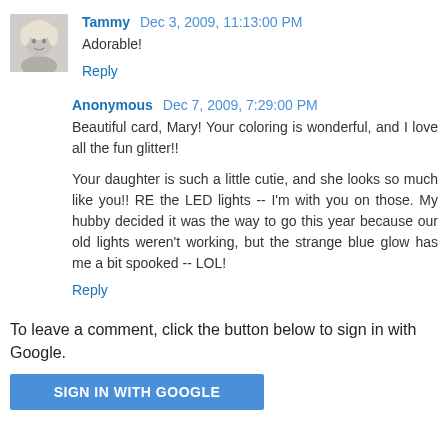[Figure (photo): Small profile photo of a blonde woman (Tammy), grayscale thumbnail]
Tammy Dec 3, 2009, 11:13:00 PM
Adorable!
Reply
Anonymous Dec 7, 2009, 7:29:00 PM
Beautiful card, Mary! Your coloring is wonderful, and I love all the fun glitter!!
Your daughter is such a little cutie, and she looks so much like you!! RE the LED lights -- I'm with you on those. My hubby decided it was the way to go this year because our old lights weren't working, but the strange blue glow has me a bit spooked -- LOL!
Reply
To leave a comment, click the button below to sign in with Google.
SIGN IN WITH GOOGLE